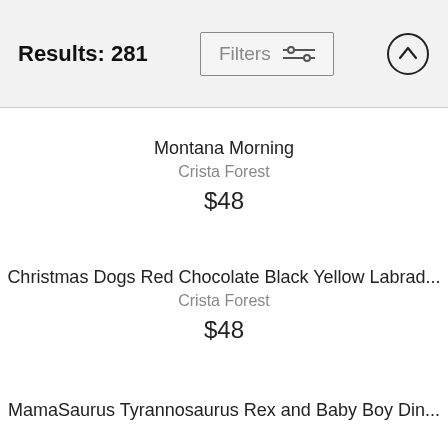Results: 281 | Filters
Montana Morning
Crista Forest
$48
Christmas Dogs Red Chocolate Black Yellow Labrad...
Crista Forest
$48
MamaSaurus Tyrannosaurus Rex and Baby Boy Din...